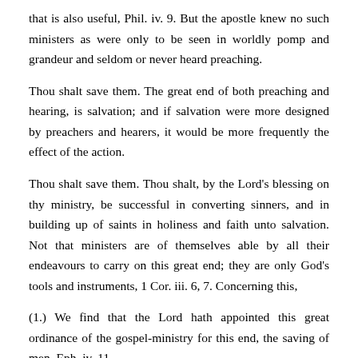that is also useful, Phil. iv. 9. But the apostle knew no such ministers as were only to be seen in worldly pomp and grandeur and seldom or never heard preaching.
Thou shalt save them. The great end of both preaching and hearing, is salvation; and if salvation were more designed by preachers and hearers, it would be more frequently the effect of the action.
Thou shalt save them. Thou shalt, by the Lord’s blessing on thy ministry, be successful in converting sinners, and in building up of saints in holiness and faith unto salvation. Not that ministers are of themselves able by all their endeavours to carry on this great end; they are only God’s tools and instruments, 1 Cor. iii. 6, 7. Concerning this,
(1.) We find that the Lord hath appointed this great ordinance of the gospel-ministry for this end, the saving of men, Eph. iv. 11-